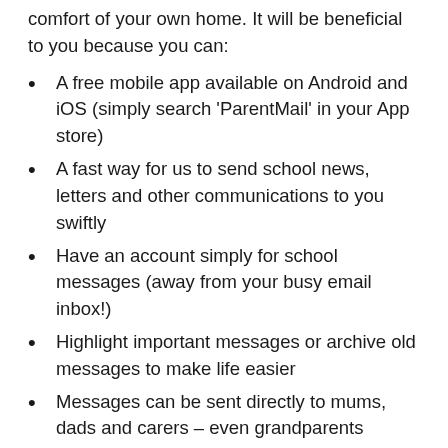comfort of your own home. It will be beneficial to you because you can:
A free mobile app available on Android and iOS (simply search 'ParentMail' in your App store)
A fast way for us to send school news, letters and other communications to you swiftly
Have an account simply for school messages (away from your busy email inbox!)
Highlight important messages or archive old messages to make life easier
Messages can be sent directly to mums, dads and carers – even grandparents
Pay for lunches, uniform and trips
Book time slots for parents evenings
Registering with ParentMail is very easy!
We will be happy to...